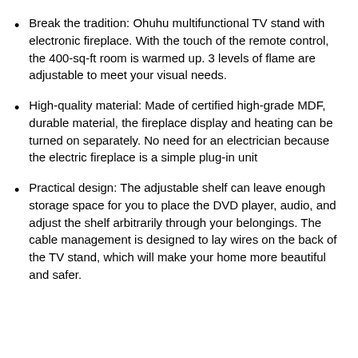Break the tradition: Ohuhu multifunctional TV stand with electronic fireplace. With the touch of the remote control, the 400-sq-ft room is warmed up. 3 levels of flame are adjustable to meet your visual needs.
High-quality material: Made of certified high-grade MDF, durable material, the fireplace display and heating can be turned on separately. No need for an electrician because the electric fireplace is a simple plug-in unit
Practical design: The adjustable shelf can leave enough storage space for you to place the DVD player, audio, and adjust the shelf arbitrarily through your belongings. The cable management is designed to lay wires on the back of the TV stand, which will make your home more beautiful and safer.